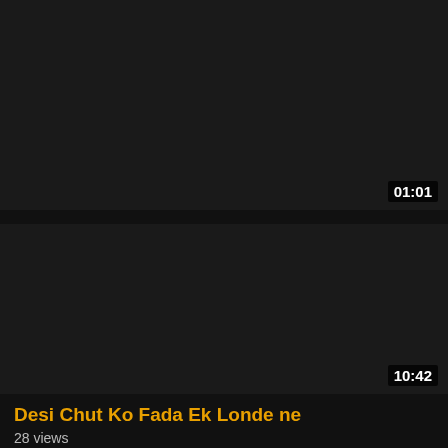[Figure (screenshot): Dark video thumbnail placeholder for first video]
01:01
Monika sexy ladki ne dikhaya boobs sucking
296 views  👍 100%
[Figure (screenshot): Dark video thumbnail placeholder for second video]
10:42
Desi Chut Ko Fada Ek Londe ne
28 views